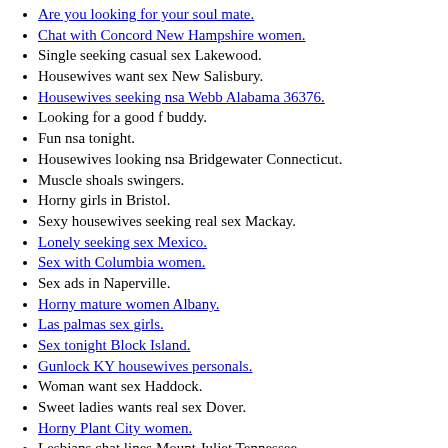Are you looking for your soul mate.
Chat with Concord New Hampshire women.
Single seeking casual sex Lakewood.
Housewives want sex New Salisbury.
Housewives seeking nsa Webb Alabama 36376.
Looking for a good f buddy.
Fun nsa tonight.
Housewives looking nsa Bridgewater Connecticut.
Muscle shoals swingers.
Horny girls in Bristol.
Sexy housewives seeking real sex Mackay.
Lonely seeking sex Mexico.
Sex with Columbia women.
Sex ads in Naperville.
Horny mature women Albany.
Las palmas sex girls.
Sex tonight Block Island.
Gunlock KY housewives personals.
Woman want sex Haddock.
Sweet ladies wants real sex Dover.
Horny Plant City women.
Lesbians chat lines Mount Juliet Tennessee.
Salem women seeking sex I Am Want Horny People